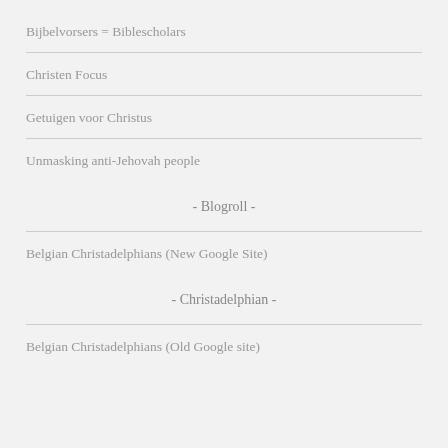Bijbelvorsers = Biblescholars
Christen Focus
Getuigen voor Christus
Unmasking anti-Jehovah people
- Blogroll -
Belgian Christadelphians (New Google Site)
- Christadelphian -
Belgian Christadelphians (Old Google site)